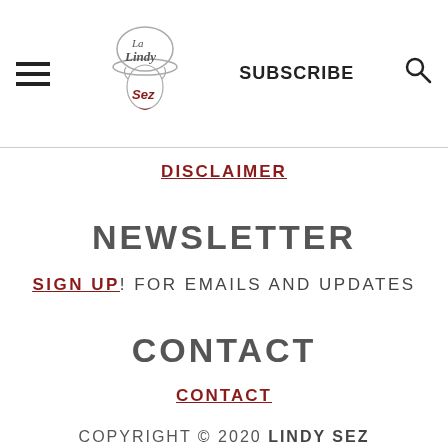La Lindy Sez — SUBSCRIBE (logo header with hamburger and search)
DISCLAIMER
NEWSLETTER
SIGN UP! FOR EMAILS AND UPDATES
CONTACT
CONTACT
COPYRIGHT © 2020 LINDY SEZ